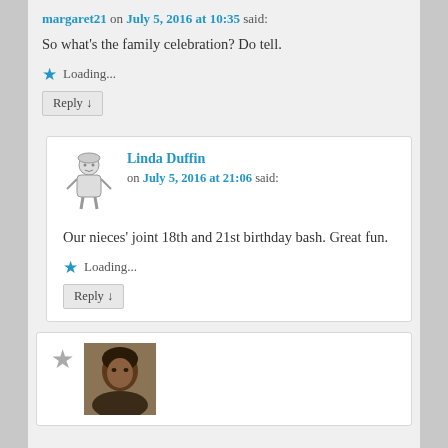margaret21 on July 5, 2016 at 10:35 said:
So what’s the family celebration? Do tell.
Loading...
Reply ↓
Linda Duffin on July 5, 2016 at 21:06 said:
Our nieces’ joint 18th and 21st birthday bash. Great fun.
Loading...
Reply ↓
[Figure (photo): Profile photo of a person, partially visible at bottom of page]